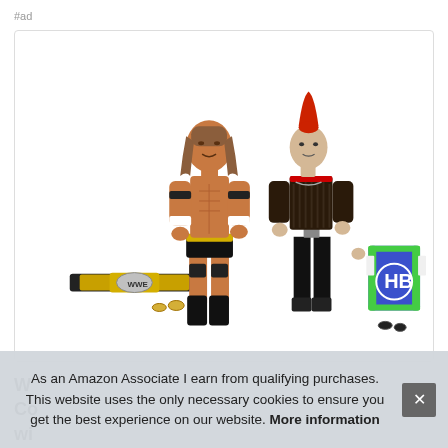#ad
[Figure (photo): WWE action figures two-pack: Triple H (muscular figure in black trunks with championship belt) and another wrestler (in black outfit with red-dyed mohawk hair), displayed with accessories including a championship belt, a blue/green jersey, and extra hands.]
W
Co
wi
As an Amazon Associate I earn from qualifying purchases. This website uses the only necessary cookies to ensure you get the best experience on our website. More information